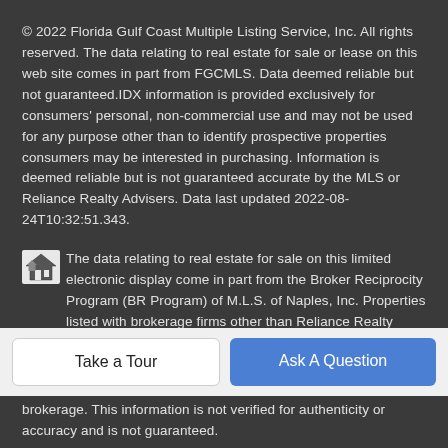© 2022 Florida Gulf Coast Multiple Listing Service, Inc. All rights reserved. The data relating to real estate for sale or lease on this web site comes in part from FGCMLS. Data deemed reliable but not guaranteed.IDX information is provided exclusively for consumers' personal, non-commercial use and may not be used for any purpose other than to identify prospective properties consumers may be interested in purchasing. Information is deemed reliable but is not guaranteed accurate by the MLS or Reliance Realty Advisers. Data last updated 2022-08-24T10:32:51.343.
The data relating to real estate for sale on this limited electronic display come in part from the Broker Reciprocity Program (BR Program) of M.L.S. of Naples, Inc. Properties listed with brokerage firms other than Reliance Realty Advisers are marked with the BR Program Icon or the BR House Icon and detailed information about them includes the name of the listing
brokerage. This information is not verified for authenticity or accuracy and is not guaranteed.